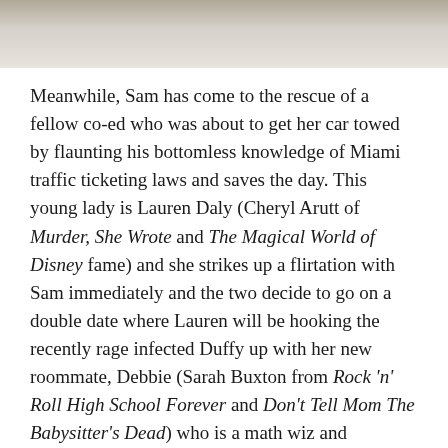[Figure (photo): Top portion of a photograph showing people, cropped at the bottom of the image strip.]
Meanwhile, Sam has come to the rescue of a fellow co-ed who was about to get her car towed by flaunting his bottomless knowledge of Miami traffic ticketing laws and saves the day. This young lady is Lauren Daly (Cheryl Arutt of Murder, She Wrote and The Magical World of Disney fame) and she strikes up a flirtation with Sam immediately and the two decide to go on a double date where Lauren will be hooking the recently rage infected Duffy up with her new roommate, Debbie (Sarah Buxton from Rock 'n' Roll High School Forever and Don't Tell Mom The Babysitter's Dead) who is a math wiz and introduced herself to Lauren as having missed a good chunk of the semester because she had to get an abortion. Beats the typical boring, getting to know you chit-